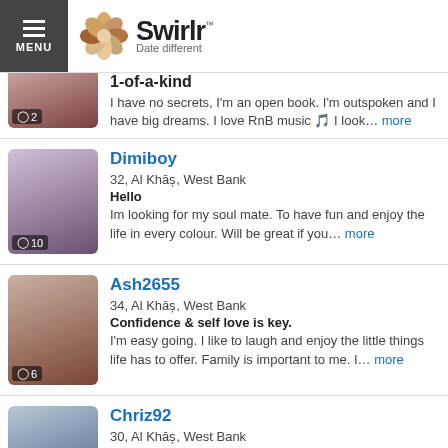[Figure (screenshot): Swirlr dating website header with menu button, flower logo, brand name and tagline 'Date different']
1-of-a-kind | I have no secrets, I'm an open book. I'm outspoken and I have big dreams. I love RnB music 🎵 I look... more
Dimiboy | 32, Al Khāṣ, West Bank | Hello | Im looking for my soul mate. To have fun and enjoy the life in every colour. Will be great if you... more
Ash2655 | 34, Al Khāṣ, West Bank | Confidence & self love is key. | I'm easy going. I like to laugh and enjoy the little things life has to offer. Family is important to me. I... more
Chriz92 | 30, Al Khāṣ, West Bank | Take a chance and learn. | I love taking trips, whether it's flying somewhere or